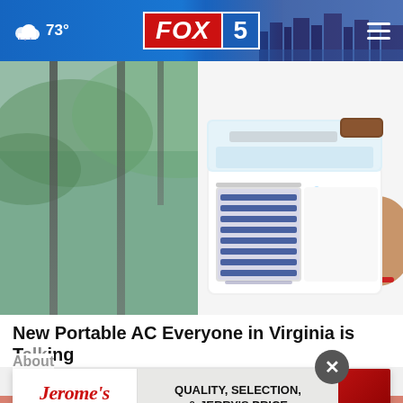FOX 5 — 73°
[Figure (photo): Person holding a small white portable air conditioner/cooler device with blue vents and brown accent on top, photographed outdoors]
New Portable AC Everyone in Virginia is Talking About
About
ChillWell
[Figure (other): Jerome's Furniture advertisement banner — QUALITY, SELECTION, & JERRY'S PRICE]